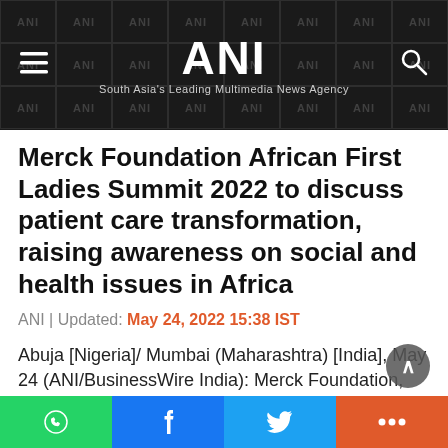ANI — South Asia's Leading Multimedia News Agency
Merck Foundation African First Ladies Summit 2022 to discuss patient care transformation, raising awareness on social and health issues in Africa
ANI | Updated: May 24, 2022 15:38 IST
Abuja [Nigeria]/ Mumbai (Maharashtra) [India], May 24 (ANI/BusinessWire India): Merck Foundation, the philanthropic arm of Merck KGaA Germany conducted